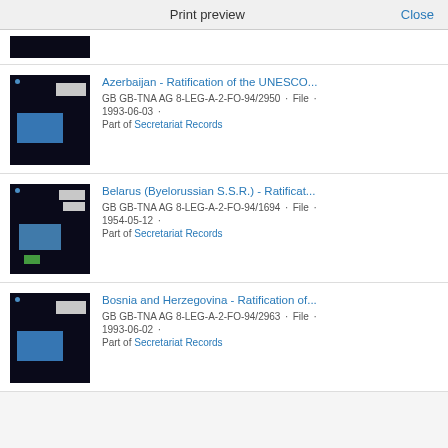Print preview  Close
[Figure (photo): Partial thumbnail of a dark document file folder]
Azerbaijan - Ratification of the UNESCO...
GB GB-TNA AG 8-LEG-A-2-FO-94/2950 · File ·
1993-06-03 ·
Part of Secretariat Records
[Figure (photo): Thumbnail of a dark document file folder with blue label]
Belarus (Byelorussian S.S.R.) - Ratificat...
GB GB-TNA AG 8-LEG-A-2-FO-94/1694 · File ·
1954-05-12 ·
Part of Secretariat Records
[Figure (photo): Thumbnail of a dark document file folder with blue label]
Bosnia and Herzegovina - Ratification of...
GB GB-TNA AG 8-LEG-A-2-FO-94/2963 · File ·
1993-06-02 ·
Part of Secretariat Records